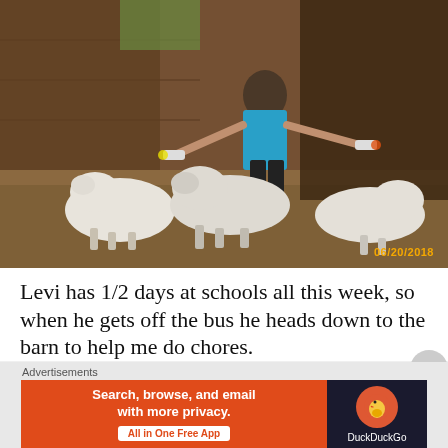[Figure (photo): A young boy in a blue tank top and black shorts feeding multiple white baby lambs with bottles inside a barn. Dirt floor, wooden walls. Date stamp 06/20/2018 in bottom right corner.]
Levi has 1/2 days at schools all this week, so when he gets off the bus he heads down to the barn to help me do chores.
Advertisements
[Figure (screenshot): Advertisement banner for DuckDuckGo app. Orange left side reads 'Search, browse, and email with more privacy. All in One Free App'. Dark right side shows DuckDuckGo duck logo and brand name.]